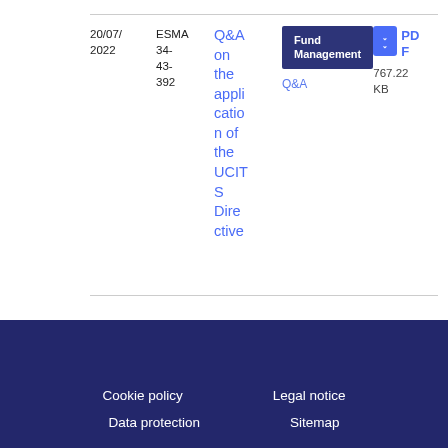20/07/2022
ESMA 34-43-392
Q&A on the application of the UCITS Directive
Fund Management Q&A
PDF 767.22 KB
Cookie policy  Legal notice  Data protection  Sitemap